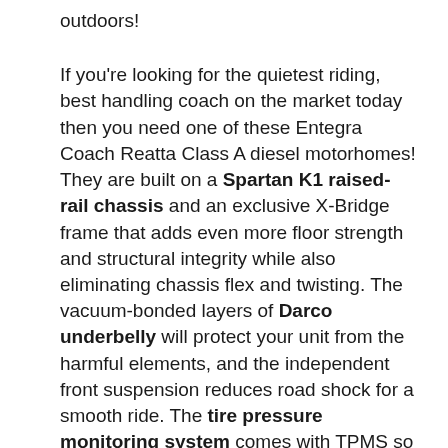outdoors!
If you're looking for the quietest riding, best handling coach on the market today then you need one of these Entegra Coach Reatta Class A diesel motorhomes! They are built on a Spartan K1 raised-rail chassis and an exclusive X-Bridge frame that adds even more floor strength and structural integrity while also eliminating chassis flex and twisting. The vacuum-bonded layers of Darco underbelly will protect your unit from the harmful elements, and the independent front suspension reduces road shock for a smooth ride. The tire pressure monitoring system comes with TPMS so you can toggle between the tire pressure and temperature monitoring on the digital dashboard to ensure a safe journey. There are convenient and beautiful residential touches all